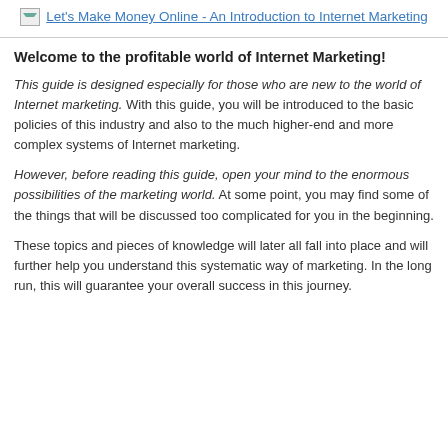Let's Make Money Online - An Introduction to Internet Marketing
Welcome to the profitable world of Internet Marketing!
This guide is designed especially for those who are new to the world of Internet marketing. With this guide, you will be introduced to the basic policies of this industry and also to the much higher-end and more complex systems of Internet marketing.
However, before reading this guide, open your mind to the enormous possibilities of the marketing world. At some point, you may find some of the things that will be discussed too complicated for you in the beginning.
These topics and pieces of knowledge will later all fall into place and will further help you understand this systematic way of marketing. In the long run, this will guarantee your overall success in this journey.